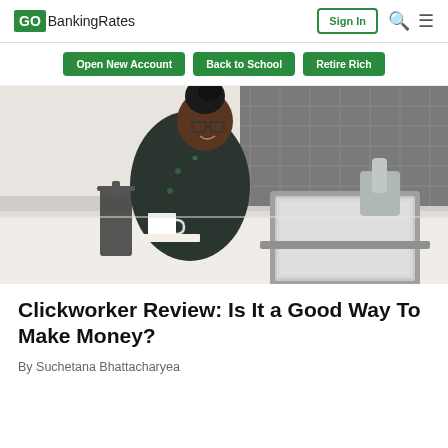GOBankingRates | Sign In
Open New Account | Back to School | Retire Rich
[Figure (photo): A woman with glasses and dark hair in a bun smiles while working on a laptop at a kitchen counter, with a French press and coffee mug nearby.]
Clickworker Review: Is It a Good Way To Make Money?
By Suchetana Bhattacharyea